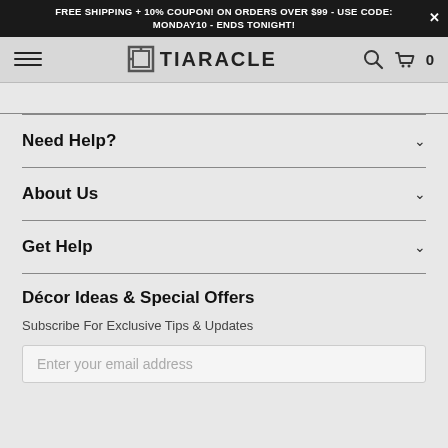FREE SHIPPING + 10% COUPON! ON ORDERS OVER $99 - USE CODE: MONDAY10 - ENDS TONIGHT!
[Figure (logo): Tiaracle logo with stylized T icon and text TIARACLE]
Need Help?
About Us
Get Help
Décor Ideas & Special Offers
Subscribe For Exclusive Tips & Updates
Enter your email address